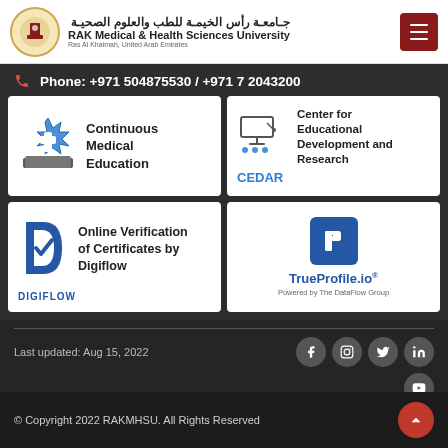[Figure (logo): RAK Medical & Health Sciences University logo with Arabic text and circular emblem]
Phone: +971 504875530 / +971 7 2043200
[Figure (logo): Continuous Medical Education icon with medical star of life on book]
Continuous Medical Education
[Figure (logo): CEDAR - Center for Educational Development and Research logo]
Center for Educational Development and Research
[Figure (logo): DIGIFLOW - Online Verification of Certificates by Digiflow logo]
Online Verification of Certificates by Digiflow
[Figure (logo): TrueProfile.io Powered by The DataFlow Group logo]
Last updated: Aug 15, 2022
© Copyright 2022 RAKMHSU. All Rights Reserved